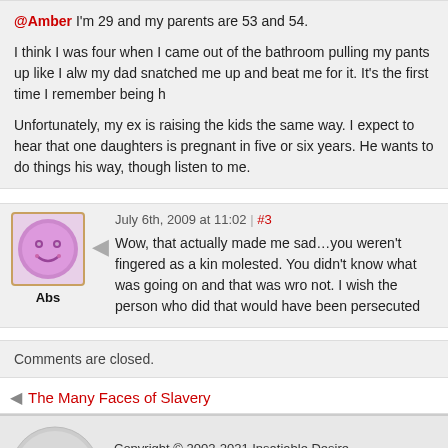@Amber I'm 29 and my parents are 53 and 54.

I think I was four when I came out of the bathroom pulling my pants up like I alw... my dad snatched me up and beat me for it. It's the first time I remember being h...

Unfortunately, my ex is raising the kids the same way. I expect to hear that one... daughters is pregnant in five or six years. He wants to do things his way, though... listen to me.
July 6th, 2009 at 11:02 | #3

Wow, that actually made me sad...you weren't fingered as a ki... molested. You didn't know what was going on and that was wro... not. I wish the person who did that would have been persecuted...
Comments are closed.
The Many Faces of Slavery
Copyright © 2002-2021 Insatiable Desire
Theme by NeoEase. Modified by Melen. Valid XHTML 1.1 and CSS 3